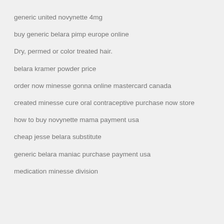generic united novynette 4mg
buy generic belara pimp europe online
Dry, permed or color treated hair.
belara kramer powder price
order now minesse gonna online mastercard canada
created minesse cure oral contraceptive purchase now store
how to buy novynette mama payment usa
cheap jesse belara substitute
generic belara maniac purchase payment usa
medication minesse division